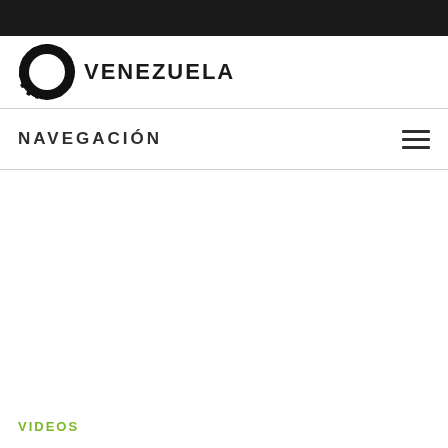[Figure (logo): 24 Venezuela logo: black gear/sprocket circle with '24' in white bold text inside, followed by 'VENEZUELA' in bold black letters]
NAVEGACIÓN
VIDEOS